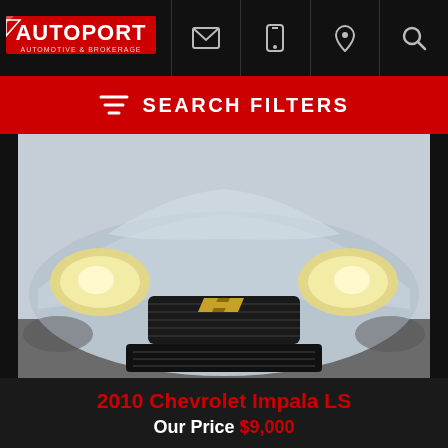AUTOPORT Automotive & Brokerage
SEARCH FILTERS
[Figure (photo): Front view of a silver 2010 Chevrolet Impala LS, showing the hood, headlights, Chevrolet bowtie grille badge, and front bumper with air intake grille.]
2010 Chevrolet Impala LS
Our Price $9,000